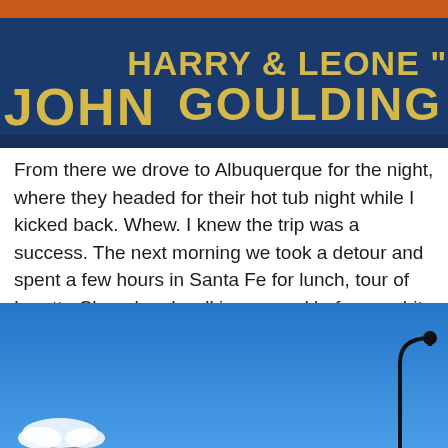[Figure (photo): Close-up photo of a dark blue sign with yellow/gold text reading 'JOHN' on left and 'HARRY & LEONE "MIKE" GOULDING' on right, with an orange band at the top.]
From there we drove to Albuquerque for the night, where they headed for their hot tub night while I kicked back. Whew. I knew the trip was a success. The next morning we took a detour and spent a few hours in Santa Fe for lunch, tour of Loretto Chapel and walking around before we hit the road, traveling the freeway along old Route 66 to home. Oh, it snowed on us as we got to Santa Fe then cleared for a beautiful day as we ate lunch. We hadn't expected so much snow in mid-May.
[Figure (photo): Outdoor photo showing a bright blue sky with a small white cloud near the bottom left and a street lamp silhouette in the bottom right corner.]